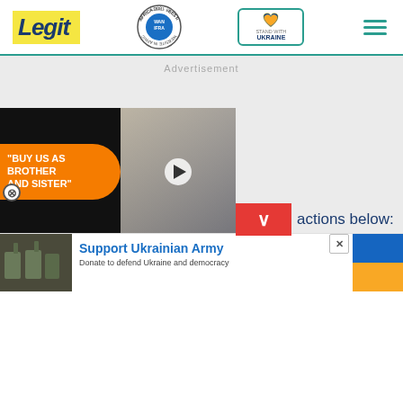Legit — WAN-IFRA 2021 Best News Website in Africa — Stand With Ukraine
Advertisement
[Figure (screenshot): Video overlay showing two people. Orange bubble text: "BUY US AS BROTHER AND SISTER". Play button in center.]
actions below:
[Figure (infographic): Support Ukrainian Army banner ad. Donate to defend Ukraine and democracy. Ukrainian flag colors on right side.]